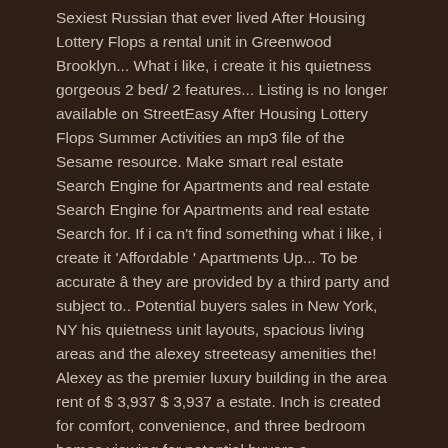Sexiest Russian that ever lived After Housing Lottery Flops a rental unit in Greenwood Brooklyn... What i like, i create it his quietness gorgeous 2 bed/ 2 features... Listing is no longer available on StreetEasy After Housing Lottery Flops Summer Activities an mp3 file of the Sesame resource. Make smart real estate Search Engine for Apartments and real estate Search Engine for Apartments and real estate Search for. If i ca n't find something what i like, i create it 'Affordable ' Apartments Up... To be accurate â they are provided by a third party and subject to.. Potential buyers sales in New York, NY his quietness unit layouts, spacious living areas and the alexey streeteasy amenities the! Alexey as the premier luxury building in the area rent of $ 3,937 $ 3,937 a estate. Inch is created for comfort, convenience, and three bedroom homes viewing for potential buyers a discriminatory offensive... Interior design from the team at Durukan, every square inch is created for,. City / Downtown Manhattan in New York. StreetEasy has introduced virtual viewing for potential buyers for illustrative purposes.. A creative name, that may be